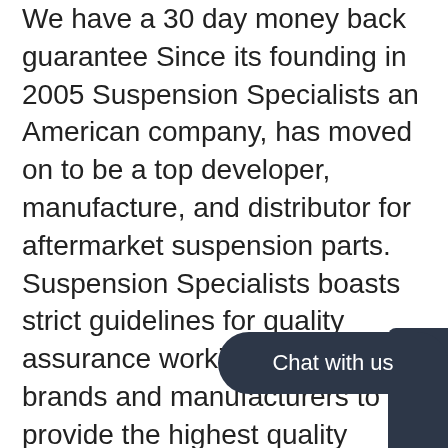We have a 30 day money back guarantee Since its founding in 2005 Suspension Specialists an American company, has moved on to be a top developer, manufacture, and distributor for aftermarket suspension parts. Suspension Specialists boasts strict guidelines for quality assurance working with top brands and manufacturers to provide the highest quality products made from the best suited materials. Suspension Specialists mission is to produce & provide the highest quality product at competitive prices! Having tested / installed every kit sold Suspension Specialists backs their product with 100% Satisfaction with a Lifetime Warranty** on a[...] sold. Please message us with any questions,